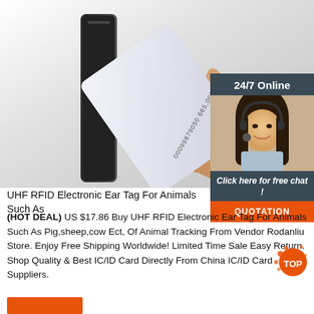[Figure (photo): A hand holding a white RFID card near a black card reader/device. The card shows numbers: 00099879050 665,00079. Background is white/grey.]
[Figure (photo): Sidebar panel with '24/7 Online' label, photo of a female customer service agent with headset smiling, 'Click here for free chat!' text, and an orange QUOTATION button.]
UHF RFID Electronic Ear Tag For Animals Such As
(HOT DEAL) US $17.86 Buy UHF RFID Electronic Ear Tag For Animals Such As Pig,sheep,cow Ect, Of Animal Tracking From Vendor Rodanliu Store. Enjoy Free Shipping Worldwide! Limited Time Sale Easy Return. Shop Quality & Best IC/ID Card Directly From China IC/ID Card Suppliers.
[Figure (logo): Orange 'TOP' badge with splatter design in bottom right corner]